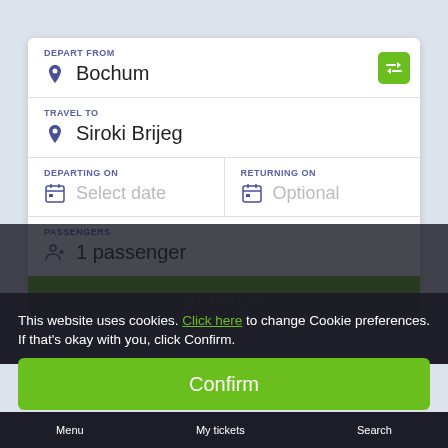DEPART FROM
Bochum
TRAVEL TO
Siroki Brijeg
DEPARTING ON
Select date
RETURNING ON
Optional
PASSENGERS
1 passenger
SEARCH
This website uses cookies. Click here to change Cookie preferences. If that's okay with you, click Confirm.
Confirm
Menu
My tickets
Search